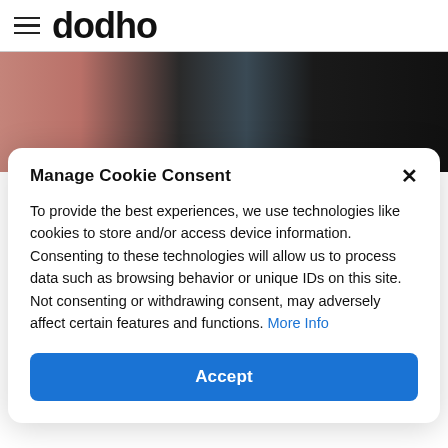dodho
[Figure (photo): Blurry abstract close-up photo with warm pinkish-brown tones on the left and dark/black tones on the right]
Manage Cookie Consent
To provide the best experiences, we use technologies like cookies to store and/or access device information. Consenting to these technologies will allow us to process data such as browsing behavior or unique IDs on this site. Not consenting or withdrawing consent, may adversely affect certain features and functions. More Info
Accept